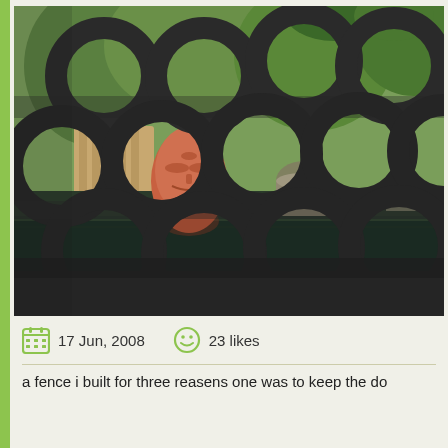[Figure (photo): Photo of a decorative dark hexagonal/circular patterned fence in foreground with a terracotta face sculpture visible behind it near a water feature, garden with trees in background]
17 Jun, 2008   23 likes
a fence i built for three reasens one was to keep the do